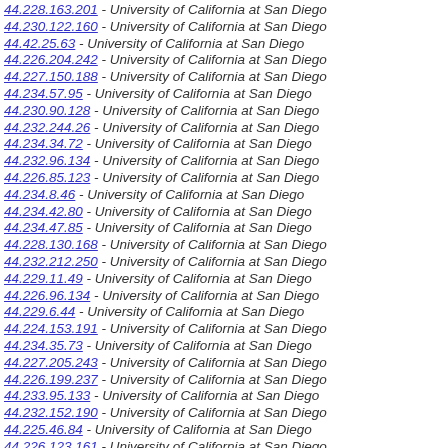44.228.163.201 - University of California at San Diego
44.230.122.160 - University of California at San Diego
44.42.25.63 - University of California at San Diego
44.226.204.242 - University of California at San Diego
44.227.150.188 - University of California at San Diego
44.234.57.95 - University of California at San Diego
44.230.90.128 - University of California at San Diego
44.232.244.26 - University of California at San Diego
44.234.34.72 - University of California at San Diego
44.232.96.134 - University of California at San Diego
44.226.85.123 - University of California at San Diego
44.234.8.46 - University of California at San Diego
44.234.42.80 - University of California at San Diego
44.234.47.85 - University of California at San Diego
44.228.130.168 - University of California at San Diego
44.232.212.250 - University of California at San Diego
44.229.11.49 - University of California at San Diego
44.226.96.134 - University of California at San Diego
44.229.6.44 - University of California at San Diego
44.224.153.191 - University of California at San Diego
44.234.35.73 - University of California at San Diego
44.227.205.243 - University of California at San Diego
44.226.199.237 - University of California at San Diego
44.233.95.133 - University of California at San Diego
44.232.152.190 - University of California at San Diego
44.225.46.84 - University of California at San Diego
44.226.123.161 - University of California at San Diego
44.234.20.58 - University of California at San Diego
44.234.26.64 - University of California at San Diego
44.231.60.98 - University of California at San Diego